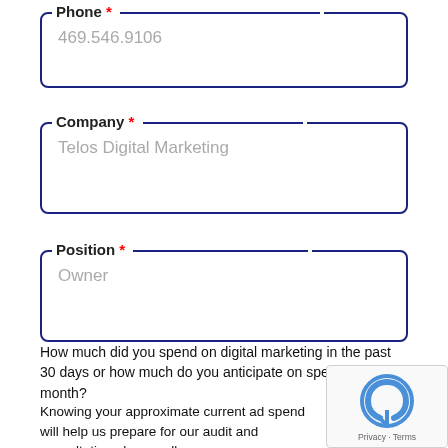Phone *
469.546.9106
Company *
Telos Digital Marketing
Position *
Owner
How much did you spend on digital marketing in the past 30 days or how much do you anticipate on spending per month?
Knowing your approximate current ad spend will help us prepare for our audit and consultation phone call.